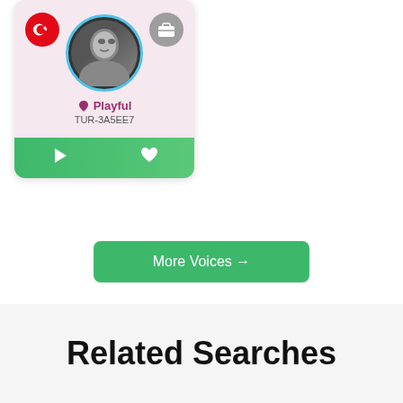[Figure (screenshot): Voice profile card showing a Turkish male user with playful style, ID TUR-3A5EE7, with play and favorite buttons on green footer]
More Voices →
Related Searches